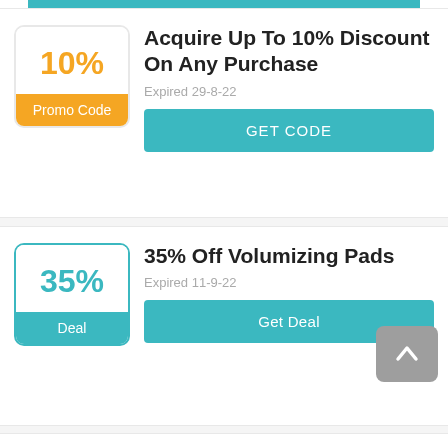[Figure (screenshot): Top teal button bar remnant at very top of page]
Acquire Up To 10% Discount On Any Purchase
Expired 29-8-22
GET CODE
35% Off Volumizing Pads
Expired 11-9-22
Get Deal
Free Standard Shipping On All US Misses Kisses Bra Kit